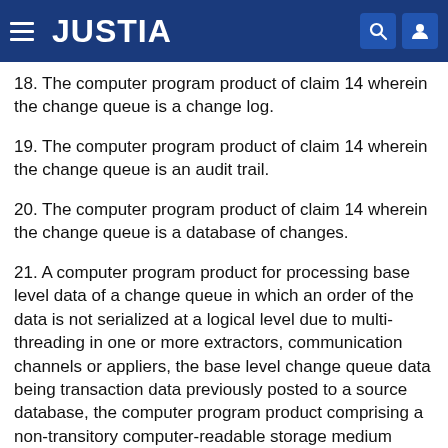JUSTIA
18. The computer program product of claim 14 wherein the change queue is a change log.
19. The computer program product of claim 14 wherein the change queue is an audit trail.
20. The computer program product of claim 14 wherein the change queue is a database of changes.
21. A computer program product for processing base level data of a change queue in which an order of the data is not serialized at a logical level due to multi-threading in one or more extractors, communication channels or appliers, the base level change queue data being transaction data previously posted to a source database, the computer program product comprising a non-transitory computer-readable storage medium encoded with computer-executable instructions for